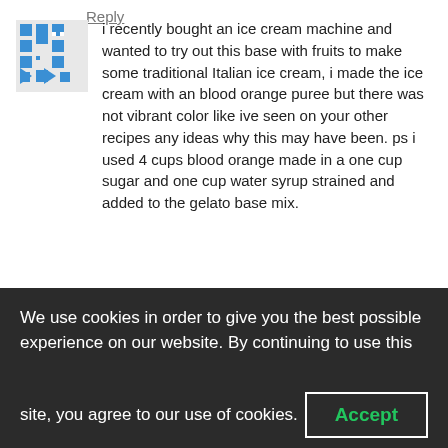i recently bought an ice cream machine and wanted to try out this base with fruits to make some traditional Italian ice cream, i made the ice cream with an blood orange puree but there was not vibrant color like ive seen on your other recipes any ideas why this may have been. ps i used 4 cups blood orange made in a one cup sugar and one cup water syrup strained and added to the gelato base mix.
Reply
Anders 24/06/2013 at 11:13
Dear Simon,
I think that Barry (in the comment below) has a good point.
Additionally, when talking visuals, one of the
We use cookies in order to give you the best possible experience on our website. By continuing to use this site, you agree to our use of cookies.
Accept